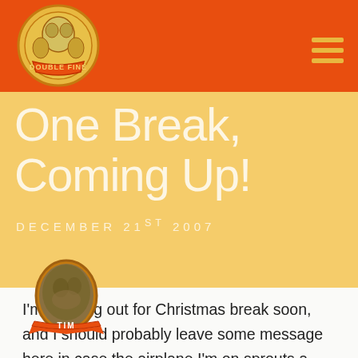Double Fine — navigation header with logo and hamburger menu
One Break, Coming Up!
DECEMBER 21ST 2007
[Figure (illustration): Author avatar: oval portrait with orange decorative frame and ribbon banner reading TIM]
I'm heading out for Christmas break soon, and I should probably leave some message here in case the airplane I'm on sprouts a leak and I am sucked